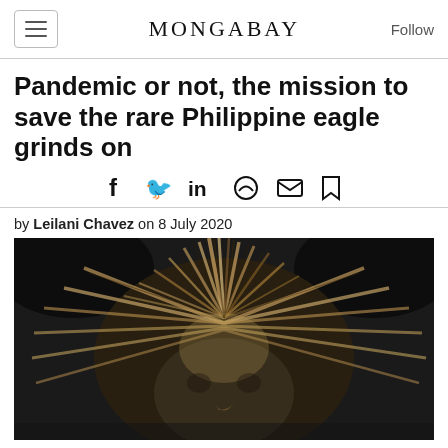MONGABAY
Pandemic or not, the mission to save the rare Philippine eagle grinds on
by Leilani Chavez on 8 July 2020
[Figure (photo): Close-up photograph of a Philippine eagle showing its distinctive brown and cream streaked feathers radiating outward from its face like a mane, against a dark background.]